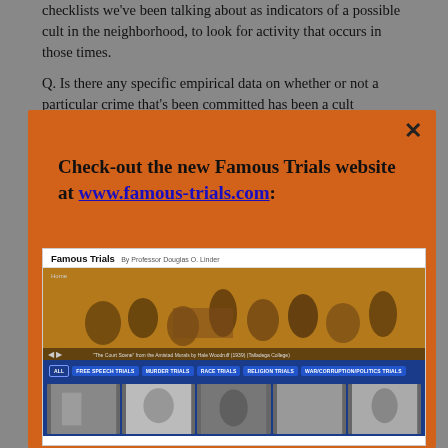checklists we've been talking about as indicators of a possible cult in the neighborhood, to look for activity that occurs in those times.
Q. Is there any specific empirical data on whether or not a particular crime that's been committed has been a cult
[Figure (screenshot): Orange promotional overlay box with close button (x), text 'Check-out the new Famous Trials website at www.famous-trials.com:', and a screenshot of the Famous Trials website showing a banner image of a courtroom scene painting, navigation buttons (ALL, FREE SPEECH TRIALS, MURDER TRIALS, RACE TRIALS, RELIGION TRIALS, WAR/CORRUPTION/POLITICS TRIALS), and thumbnail images at the bottom.]